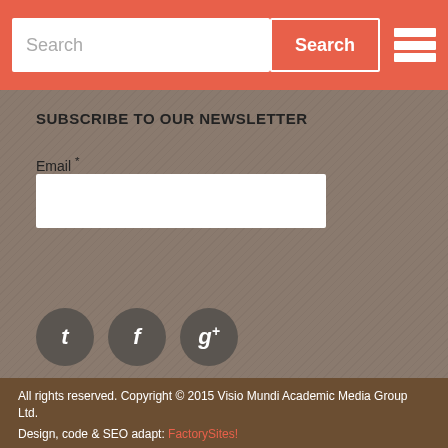Search | Search | [hamburger menu]
SUBSCRIBE TO OUR NEWSLETTER
Email *
Subscribe!
[Figure (infographic): Social media icons: Twitter (t), Facebook (f), Google+ (g+) as dark circular buttons]
All rights reserved. Copyright © 2015 Visio Mundi Academic Media Group Ltd. Design, code & SEO adapt: FactorySites!